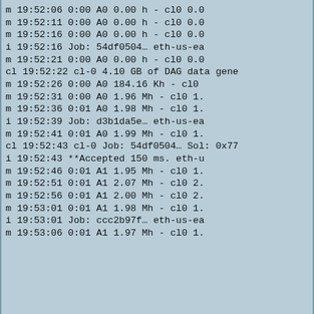m 19:52:06          0:00 A0 0.00 h - cl0 0.0
 i 19:52:11          0:00 A0 0.00 h - cl0 0.0
 m 19:52:16          0:00 A0 0.00 h - cl0 0.0
 i 19:52:16          Job: 54df0504... eth-us-ea
 m 19:52:21          0:00 A0 0.00 h - cl0 0.0
cl 19:52:22 cl-0     4.10 GB of DAG data gene
 m 19:52:26          0:00 A0 184.16 Kh - cl0
 m 19:52:31          0:00 A0 1.96 Mh - cl0 1.
 m 19:52:36          0:01 A0 1.98 Mh - cl0 1.
 i 19:52:39          Job: d3b1da5e... eth-us-ea
 m 19:52:41          0:01 A0 1.99 Mh - cl0 1.
cl 19:52:43 cl-0     Job: 54df0504... Sol: 0x77
 i 19:52:43          **Accepted 150 ms. eth-u
 m 19:52:46          0:01 A1 1.95 Mh - cl0 1.
 m 19:52:51          0:01 A1 2.07 Mh - cl0 2.
 m 19:52:56          0:01 A1 2.00 Mh - cl0 2.
 m 19:53:01          0:01 A1 1.98 Mh - cl0 1.
 i 19:53:01          Job: ccc2b97f... eth-us-ea
 m 19:53:06          0:01 A1 1.97 Mh - cl0 1.